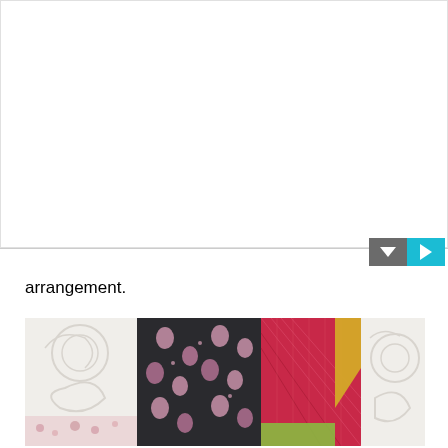[Figure (photo): White/blank area representing top image content area with a horizontal divider line and two icon buttons (dark grey with down arrow and teal with play arrow) at the bottom right.]
arrangement.
[Figure (photo): A collage of quilt fabric photos showing white quilted swirl pattern, dark fabric with pink moon/star pattern, pink/red crosshatch fabric with gold diagonal strip, and another white quilted swirl pattern.]